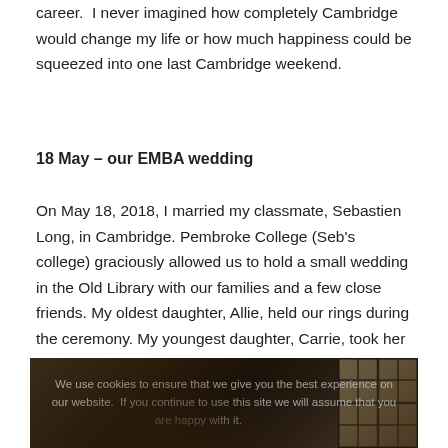career. I never imagined how completely Cambridge would change my life or how much happiness could be squeezed into one last Cambridge weekend.
18 May – our EMBA wedding
On May 18, 2018, I married my classmate, Sebastien Long, in Cambridge. Pembroke College (Seb's college) graciously allowed us to hold a small wedding in the Old Library with our families and a few close friends. My oldest daughter, Allie, held our rings during the ceremony. My youngest daughter, Carrie, took her flower girl duties seriously and scattered rose petals well into the drinks reception.
[Figure (photo): Wedding photo showing a couple and child in a historic library setting with large windows visible. A cookie consent overlay reads: 'We use cookies to ensure that we give you the best experience on our website. If you continue to use this site we will assume that you are happy with it.']